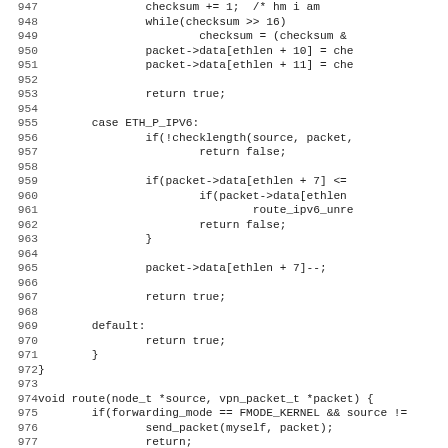[Figure (other): Source code listing (C/C++) with line numbers 947-979, showing routing logic including checksum operations, ETH_P_IPV6 case, and route function definition]